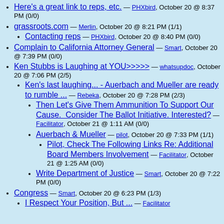Here's a great link to reps, etc. — PHXbird, October 20 @ 8:37 PM (0/0)
grassroots.com — Merlin, October 20 @ 8:21 PM (1/1)
Contacting reps — PHXbird, October 20 @ 8:40 PM (0/0)
Complain to California Attorney General — Smart, October 20 @ 7:39 PM (0/0)
Ken Stubbs is Laughing at YOU>>>>> — whatsupdoc, October 20 @ 7:06 PM (2/5)
Ken's last laughing... - Auerbach and Mueller are ready to rumble ... — Rebeka, October 20 @ 7:28 PM (2/3)
Then Let's Give Them Ammunition To Support Our Cause. Consider The Ballot Initiative. Interested? — Facilitator, October 21 @ 1:11 AM (0/0)
Auerbach & Mueller — pilot, October 20 @ 7:33 PM (1/1)
Pilot, Check The Following Links Re: Additional Board Members Involvement — Facilitator, October 21 @ 1:25 AM (0/0)
Write Department of Justice — Smart, October 20 @ 7:22 PM (0/0)
Congress — Smart, October 20 @ 6:23 PM (1/3)
I Respect Your Position, But ... — Facilitator